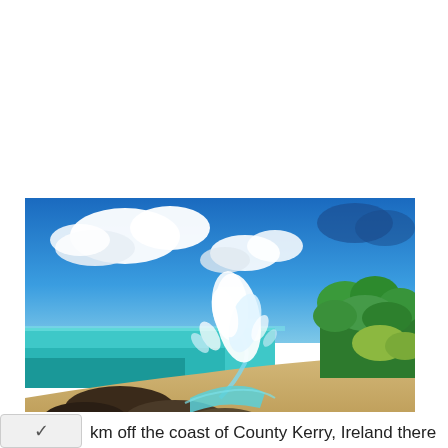[Figure (photo): A tropical beach scene with turquoise ocean water, a large wave splashing dramatically against rocky shoreline, sandy beach, green trees on the right, and a bright blue sky with white clouds. A Shutterstock.com watermark is visible in the bottom right corner.]
km off the coast of County Kerry, Ireland there